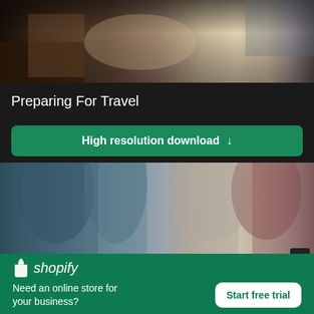[Figure (photo): Top portion of a photo showing a person's hands writing in a notebook, with National Geographic magazines on a wooden desk]
Preparing For Travel
High resolution download ↓
[Figure (photo): Photo showing a group of people standing closely together, blurred crowd scene with people in casual clothing]
× (close button)
[Figure (logo): Shopify logo with shopping bag icon and italic shopify wordmark]
Need an online store for your business?
Start free trial